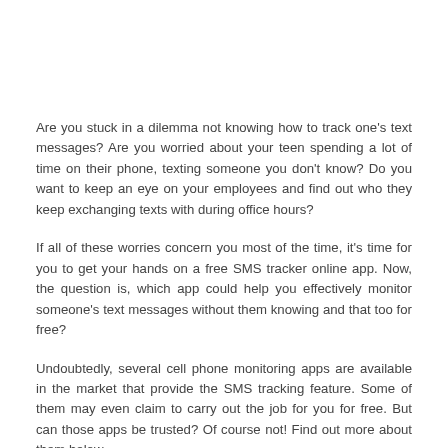Are you stuck in a dilemma not knowing how to track one's text messages? Are you worried about your teen spending a lot of time on their phone, texting someone you don't know? Do you want to keep an eye on your employees and find out who they keep exchanging texts with during office hours?
If all of these worries concern you most of the time, it's time for you to get your hands on a free SMS tracker online app. Now, the question is, which app could help you effectively monitor someone's text messages without them knowing and that too for free?
Undoubtedly, several cell phone monitoring apps are available in the market that provide the SMS tracking feature. Some of them may even claim to carry out the job for you for free. But can those apps be trusted? Of course not! Find out more about them below.
[Figure (other): Blue button labeled 'Track SMS Now']